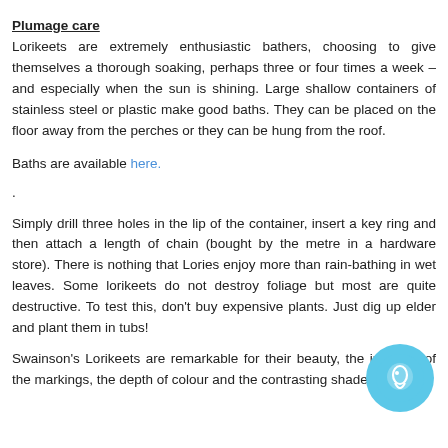Plumage care
Lorikeets are extremely enthusiastic bathers, choosing to give themselves a thorough soaking, perhaps three or four times a week – and especially when the sun is shining. Large shallow containers of stainless steel or plastic make good baths. They can be placed on the floor away from the perches or they can be hung from the roof.
Baths are available here.
.
Simply drill three holes in the lip of the container, insert a key ring and then attach a length of chain (bought by the metre in a hardware store). There is nothing that Lories enjoy more than rain-bathing in wet leaves. Some lorikeets do not destroy foliage but most are quite destructive. To test this, don't buy expensive plants. Just dig up elder and plant them in tubs!
Swainson's Lorikeets are remarkable for their beauty, the intricacy of the markings, the depth of colour and the contrasting shades. No